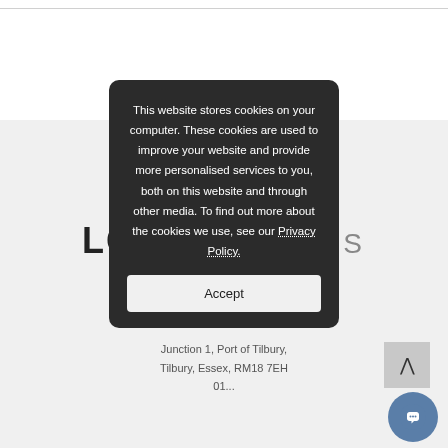[Figure (screenshot): Cookie consent modal dialog on a website. Dark rounded rectangle popup with white text reading: 'This website stores cookies on your computer. These cookies are used to improve your website and provide more personalised services to you, both on this website and through other media. To find out more about the cookies we use, see our Privacy Policy.' with an Accept button below. Behind the modal is a partially visible company logo 'LG · NETWORKS' and address text 'Junction 1, Port of Tilbury, Tilbury, Essex, RM18 7EH' with a phone number starting '01...'. A back-to-top arrow button and a circular chat support button are visible in the bottom right.]